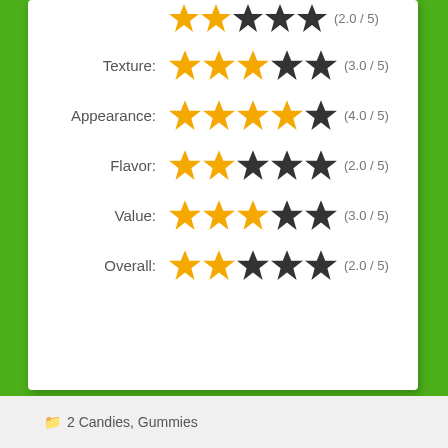[Figure (infographic): Star rating rows for Texture (3.0/5), Appearance (4.0/5), Flavor (2.0/5), Value (3.0/5), Overall (2.0/5) with partial top row showing 2.0/5]
2 Candies, Gummies